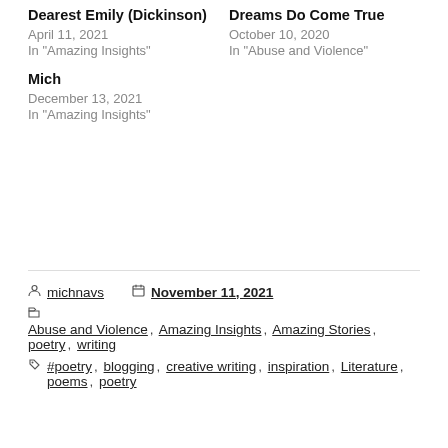Dearest Emily (Dickinson)
April 11, 2021
In "Amazing Insights"
Dreams Do Come True
October 10, 2020
In "Abuse and Violence"
Mich
December 13, 2021
In "Amazing Insights"
michnavs  November 11, 2021
Abuse and Violence, Amazing Insights, Amazing Stories, poetry, writing
#poetry, blogging, creative writing, inspiration, Literature, poems, poetry